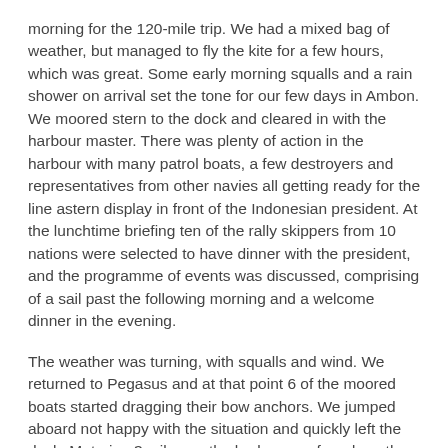morning for the 120-mile trip. We had a mixed bag of weather, but managed to fly the kite for a few hours, which was great. Some early morning squalls and a rain shower on arrival set the tone for our few days in Ambon. We moored stern to the dock and cleared in with the harbour master. There was plenty of action in the harbour with many patrol boats, a few destroyers and representatives from other navies all getting ready for the line astern display in front of the Indonesian president. At the lunchtime briefing ten of the rally skippers from 10 nations were selected to have dinner with the president, and the programme of events was discussed, comprising of a sail past the following morning and a welcome dinner in the evening.
The weather was turning, with squalls and wind. We returned to Pegasus and at that point 6 of the moored boats started dragging their bow anchors. We jumped aboard not happy with the situation and quickly left the dock. Motoring 3 miles up the harbour we found another anchorage and secured for the night. Venturing ashore to a hotel we had a great evening with our friends on Anui and Orano1 returning to Pegasus far too late.